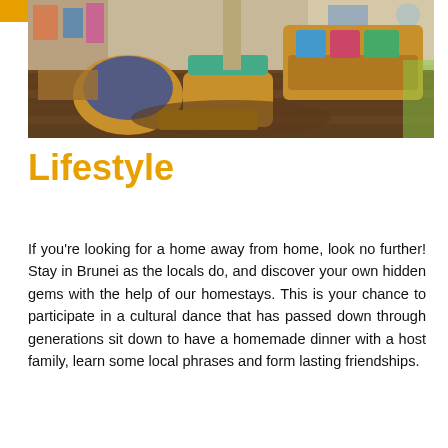[Figure (photo): Interior photo of a colorful homestay living room with rattan/wicker furniture including a sofa, chairs, and coffee table, wooden floors, decorative cushions and rugs, in a warm eclectic style.]
Lifestyle
If you're looking for a home away from home, look no further! Stay in Brunei as the locals do, and discover your own hidden gems with the help of our homestays. This is your chance to participate in a cultural dance that has passed down through generations sit down to have a homemade dinner with a host family, learn some local phrases and form lasting friendships.